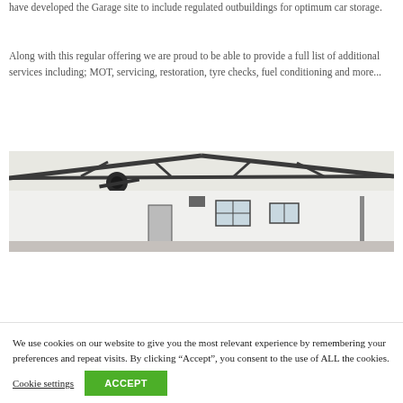have developed the Garage site to include regulated outbuildings for optimum car storage.
Along with this regular offering we are proud to be able to provide a full list of additional services including; MOT, servicing, restoration, tyre checks, fuel conditioning and more...
[Figure (photo): Interior of a garage facility showing steel roof trusses, white walls, windows, and a roller door mechanism overhead.]
We use cookies on our website to give you the most relevant experience by remembering your preferences and repeat visits. By clicking “Accept”, you consent to the use of ALL the cookies.
Cookie settings | ACCEPT